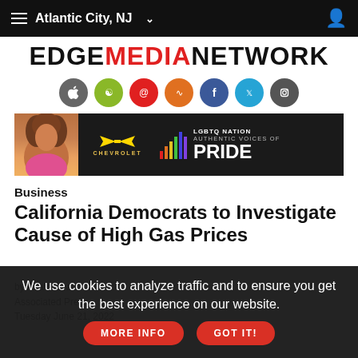Atlantic City, NJ
[Figure (logo): EdgeMediaNetwork logo with EDGE and NETWORK in black, MEDIA in red]
[Figure (illustration): Row of social media icon circles: Apple, Android, Email, RSS, Facebook, Twitter, Instagram]
[Figure (photo): Chevrolet / LGBTQ Nation Authentic Voices of Pride advertisement banner]
Business
California Democrats to Investigate Cause of High Gas Prices
by Adam Beam
Associated Press
Tuesday June 21, 2022
We use cookies to analyze traffic and to ensure you get the best experience on our website.  MORE INFO  GOT IT!